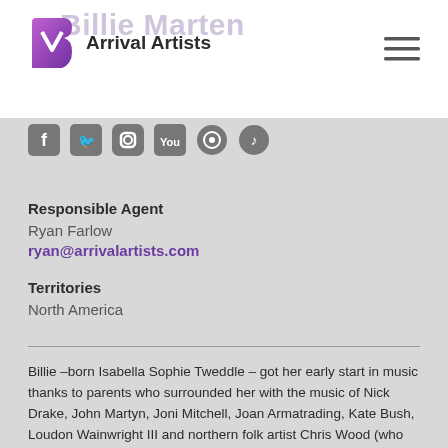Arrival Artists
Billie Marten
[Figure (logo): Arrival Artists logo with purple A icon and text]
[Figure (other): Social media icons: Facebook, Twitter, Instagram, YouTube, Spotify, Soundcloud]
Responsible Agent
Ryan Farlow
ryan@arrivalartists.com
Territories
North America
Billie –born Isabella Sophie Tweddle – got her early start in music thanks to parents who surrounded her with the music of Nick Drake, John Martyn, Joni Mitchell, Joan Armatrading, Kate Bush, Loudon Wainwright III and northern folk artist Chris Wood (who once told a nine-